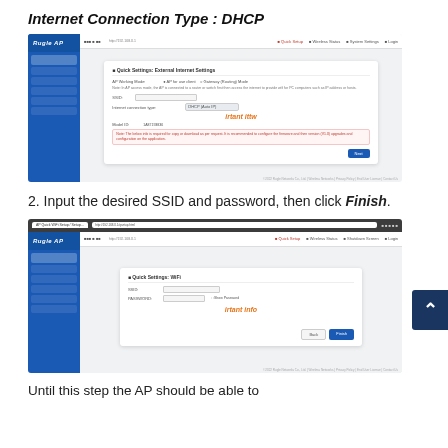Internet Connection Type : DHCP
[Figure (screenshot): Router admin UI screenshot showing Quick Settings - External Internet Settings dialog with Internet Connection Type set to DHCP, with orange 'irtant ittw' label and a Next button]
2. Input the desired SSID and password, then click Finish.
[Figure (screenshot): Browser screenshot showing router admin UI with Quick Settings WiFi dialog, SSID and password fields, orange 'irtant info' label, and Back/Finish buttons]
Until this step the AP should be able to